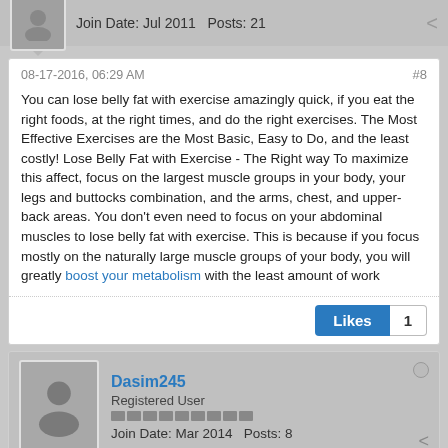Join Date: Jul 2011   Posts: 21
08-17-2016, 06:29 AM   #8
You can lose belly fat with exercise amazingly quick, if you eat the right foods, at the right times, and do the right exercises. The Most Effective Exercises are the Most Basic, Easy to Do, and the least costly! Lose Belly Fat with Exercise - The Right way To maximize this affect, focus on the largest muscle groups in your body, your legs and buttocks combination, and the arms, chest, and upper-back areas. You don't even need to focus on your abdominal muscles to lose belly fat with exercise. This is because if you focus mostly on the naturally large muscle groups of your body, you will greatly boost your metabolism with the least amount of work
Likes  1
Dasim245
Registered User
Join Date: Mar 2014   Posts: 8
08-17-2016, 11:46 PM   #9